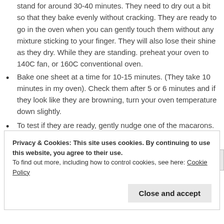stand for around 30-40 minutes. They need to dry out a bit so that they bake evenly without cracking. They are ready to go in the oven when you can gently touch them without any mixture sticking to your finger. They will also lose their shine as they dry. While they are standing. preheat your oven to 140C fan, or 160C conventional oven.
Bake one sheet at a time for 10-15 minutes. (They take 10 minutes in my oven). Check them after 5 or 6 minutes and if they look like they are browning, turn your oven temperature down slightly.
To test if they are ready, gently nudge one of the macarons. If it wobbles on its base, it needs a little bit longer. If it has a
Privacy & Cookies: This site uses cookies. By continuing to use this website, you agree to their use.
To find out more, including how to control cookies, see here: Cookie Policy
Close and accept